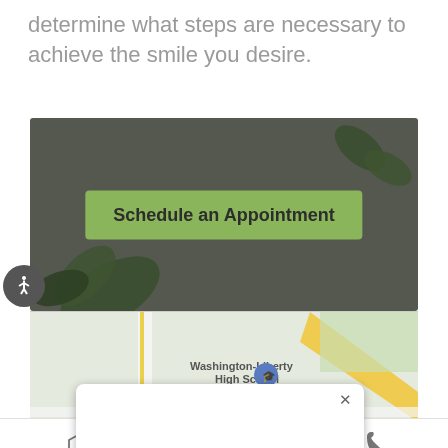determine what steps are necessary to achieve the smile you desire.
[Figure (screenshot): Dark grey banner with green leaf decorations and a green 'Schedule an Appointment' button in the center]
[Figure (map): Google Maps screenshot showing Washington-Liberty High School area in Arlington, with a map popup dialog and close button]
NP Forms
Address
Phone